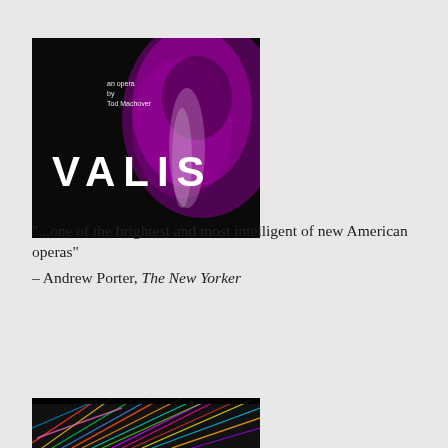[Figure (photo): VALIS opera album/poster cover. Dark background with a face illuminated in purple/magenta light on the right side. Text on upper left reads 'an opera by Tod Machover'. Large bold white text reads 'VALIS' in the lower left.]
"...one of the brightest and most intelligent of new American operas" – Andrew Porter, The New Yorker
[Figure (photo): Colorful abstract artwork with bright intersecting lines of multiple colors on a dark background, partially visible at the bottom of the page.]